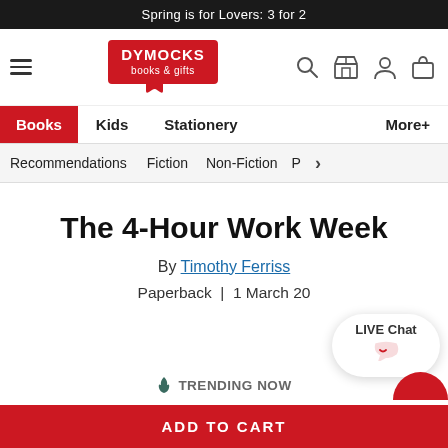Spring is for Lovers: 3 for 2
[Figure (logo): Dymocks books & gifts logo — red book shape with white text]
Books  Kids  Stationery  More+
Recommendations  Fiction  Non-Fiction  P  >
The 4-Hour Work Week
By Timothy Ferriss
Paperback | 1 March 20
LIVE Chat
TRENDING NOW
ADD TO CART